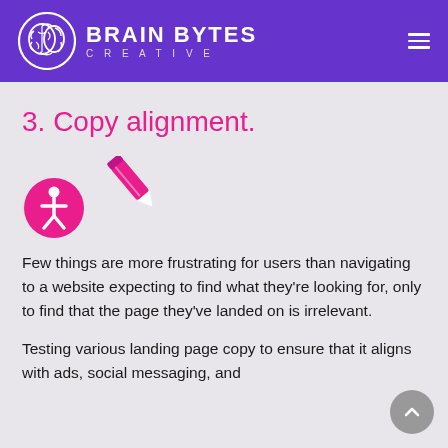BRAIN BYTES CREATIVE
3. Copy alignment.
[Figure (illustration): Pink pencil icon with a pink circle accessibility/person icon in the lower left]
Few things are more frustrating for users than navigating to a website expecting to find what they're looking for, only to find that the page they've landed on is irrelevant.
Testing various landing page copy to ensure that it aligns with ads, social messaging, and